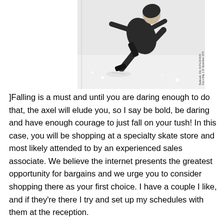[Figure (photo): Black and white photograph of a figure skater in motion, leaning forward dynamically on ice, wearing dark outfit with ice skates visible. Photo credit text runs vertically along right edge.]
]Falling is a must and until you are daring enough to do that, the axel will elude you, so I say be bold, be daring and have enough courage to just fall on your tush! In this case, you will be shopping at a specialty skate store and most likely attended to by an experienced sales associate. We believe the internet presents the greatest opportunity for bargains and we urge you to consider shopping there as your first choice. I have a couple I like, and if they're there I try and set up my schedules with them at the reception.